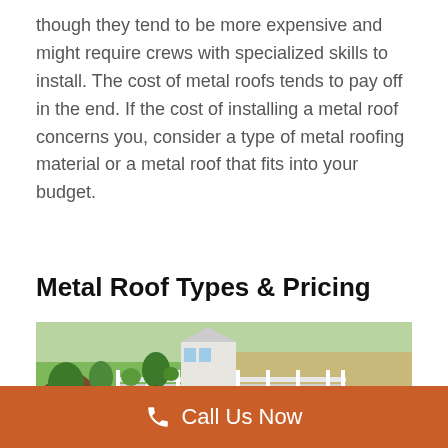though they tend to be more expensive and might require crews with specialized skills to install. The cost of metal roofs tends to pay off in the end. If the cost of installing a metal roof concerns you, consider a type of metal roofing material or a metal roof that fits into your budget.
Metal Roof Types & Pricing
[Figure (photo): Aerial view of a residential neighborhood with green lawns, hedges, trees, a white fence, and a brown-roofed house in the foreground.]
Call Us Now